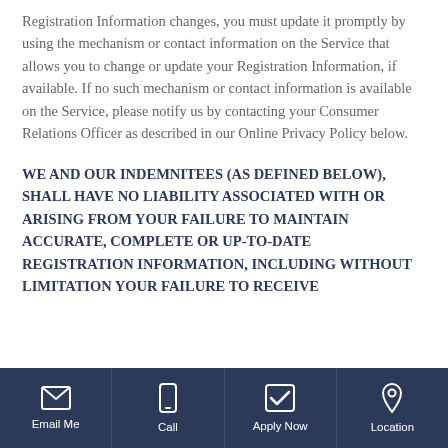Registration Information changes, you must update it promptly by using the mechanism or contact information on the Service that allows you to change or update your Registration Information, if available. If no such mechanism or contact information is available on the Service, please notify us by contacting your Consumer Relations Officer as described in our Online Privacy Policy below.
WE AND OUR INDEMNITEES (AS DEFINED BELOW), SHALL HAVE NO LIABILITY ASSOCIATED WITH OR ARISING FROM YOUR FAILURE TO MAINTAIN ACCURATE, COMPLETE OR UP-TO-DATE REGISTRATION INFORMATION, INCLUDING WITHOUT LIMITATION YOUR FAILURE TO RECEIVE
Email Me  Call  Apply Now  Location